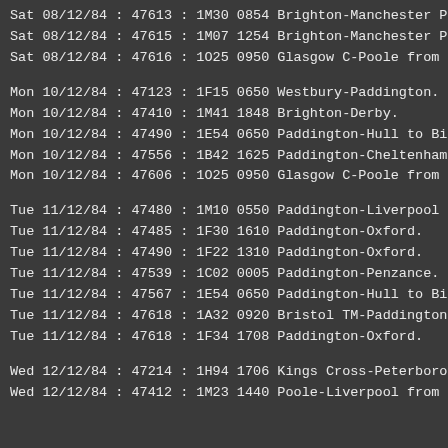Sat 08/12/84 : 47613 : 1M30 0854 Brighton-Manchester P t
Sat 08/12/84 : 47615 : 1M07 1254 Brighton-Manchester P t
Sat 08/12/84 : 47616 : 1O25 0950 Glasgow C-Poole from Co
Mon 10/12/84 : 47123 : 1F15 0650 Westbury-Paddington.
Mon 10/12/84 : 47410 : 1M41 1848 Brighton-Derby.
Mon 10/12/84 : 47490 : 1E54 0650 Paddington-Hull to Birm
Mon 10/12/84 : 47556 : 1B42 1625 Paddington-Cheltenham t
Mon 10/12/84 : 47606 : 1O25 0950 Glasgow C-Poole from Co
Tue 11/12/84 : 47480 : 1M10 0550 Paddington-Liverpool to
Tue 11/12/84 : 47485 : 1F30 1610 Paddington-Oxford.
Tue 11/12/84 : 47490 : 1F22 1310 Paddington-Oxford.
Tue 11/12/84 : 47539 : 1C02 0005 Paddington-Penzance.
Tue 11/12/84 : 47567 : 1E54 0650 Paddington-Hull to Birm
Tue 11/12/84 : 47618 : 1A32 0920 Bristol TM-Paddington.
Tue 11/12/84 : 47618 : 1F34 1708 Paddington-Oxford.
Wed 12/12/84 : 47214 : 1H94 1706 Kings Cross-Peterboroug
Wed 12/12/84 : 47412 : 1M23 1440 Poole-Liverpool from Re